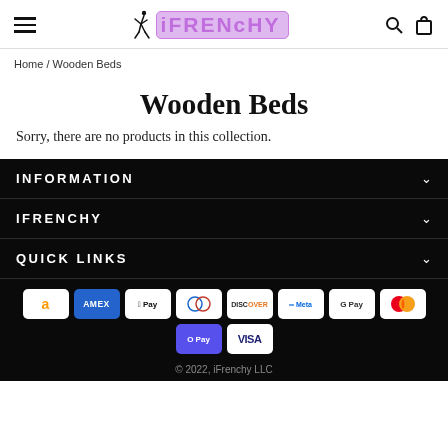iFRENCHY — navigation header with hamburger, logo, search and cart icons
Home / Wooden Beds
Wooden Beds
Sorry, there are no products in this collection.
INFORMATION
IFRENCHY
QUICK LINKS
[Figure (logo): Payment method icons: Amazon, Amex, Apple Pay, Diners Club, Discover, Meta Pay, Google Pay, Mastercard, O Pay, Visa]
© 2022, iFrenchy LLC